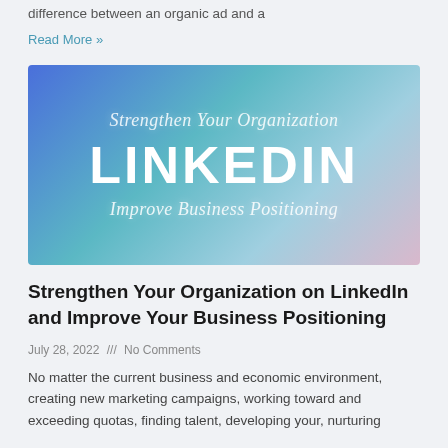difference between an organic ad and a
Read More »
[Figure (illustration): Blue-teal gradient background image with script text 'Strengthen Your Organization' at top, large bold white text 'LINKEDIN' in the center, and script text 'Improve Business Positioning' at the bottom.]
Strengthen Your Organization on LinkedIn and Improve Your Business Positioning
July 28, 2022 /// No Comments
No matter the current business and economic environment, creating new marketing campaigns, working toward and exceeding quotas, finding talent, developing your, nurturing